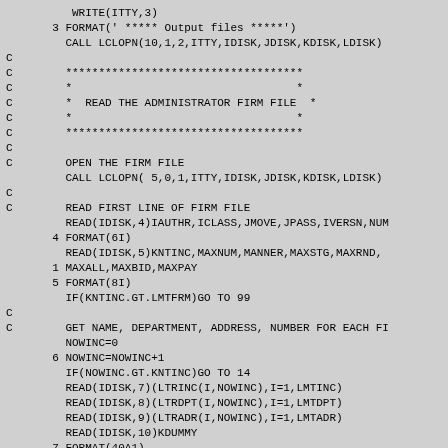WRITE(ITTY,3)
   3 FORMAT(' ***** Output files *****')
     CALL LCLOPN(10,1,2,ITTY,IDISK,JDISK,KDISK,LDISK)
C
C    ************************************
C    *                                  *
C    *  READ THE ADMINISTRATOR FIRM FILE  *
C    *                                  *
C    ************************************
C
C    OPEN THE FIRM FILE
     CALL LCLOPN( 5,0,1,ITTY,IDISK,JDISK,KDISK,LDISK)
C
C    READ FIRST LINE OF FIRM FILE
     READ(IDISK,4)IAUTHR,ICLASS,JMOVE,JPASS,IVERSN,NUM
   4 FORMAT(6I)
     READ(IDISK,5)KNTINC,MAXNUM,MANNER,MAXSTG,MAXRND,
   1 MAXALL,MAXBID,MAXPAY
   5 FORMAT(8I)
     IF(KNTINC.GT.LMTFRM)GO TO 99
C
C    GET NAME, DEPARTMENT, ADDRESS, NUMBER FOR EACH FI
     NOWINC=0
   6 NOWINC=NOWINC+1
     IF(NOWINC.GT.KNTINC)GO TO 14
     READ(IDISK,7)(LTRINC(I,NOWINC),I=1,LMTINC)
     READ(IDISK,8)(LTRDPT(I,NOWINC),I=1,LMTDPT)
     READ(IDISK,9)(LTRADR(I,NOWINC),I=1,LMTADR)
     READ(IDISK,10)KDUMMY
   7 FORMAT(40A1)